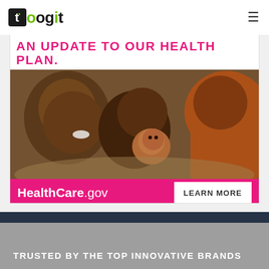toogit
[Figure (screenshot): HealthCare.gov advertisement banner showing a family (father, mother, and baby) lying together, with text 'AN UPDATE TO OUR HEALTH PLAN.' in pink, HealthCare.gov logo and LEARN MORE button on pink bottom bar]
TRUSTED BY THE TOP INNOVATIVE BRANDS